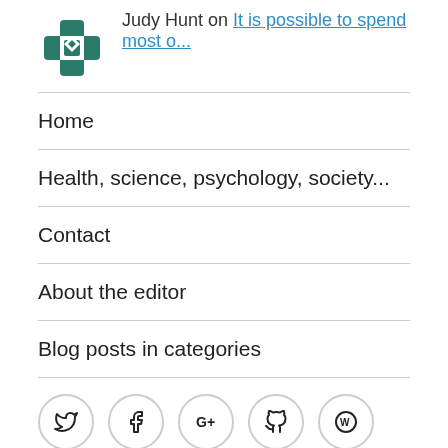Judy Hunt on It is possible to spend most o...
Home
Health, science, psychology, society...
Contact
About the editor
Blog posts in categories
[Figure (other): Social media icons: Twitter, Facebook, Google+, GitHub, WordPress]